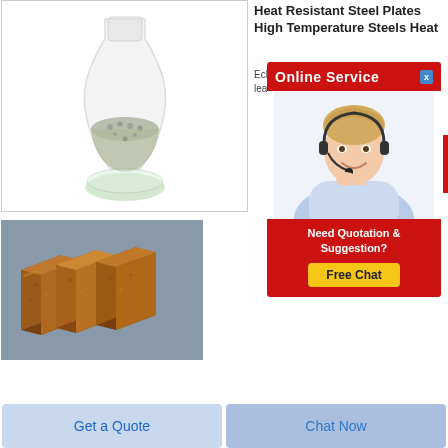[Figure (photo): A glass flask/vial filled with light grey granular powder material on a white background]
Heat Resistant Steel Plates High Temperature Steels Heat
Eckh... leade...
[Figure (infographic): Online Service banner with red background showing text 'Online Service' and a close button, below which is a photo of a smiling female customer service agent with headset, and a 'Need Quotation & Suggestion? Free Chat' call-to-action button]
[Figure (photo): Three brown/golden colored rectangular brick-like blocks stacked together on a surface]
Get a Quote
Chat Now